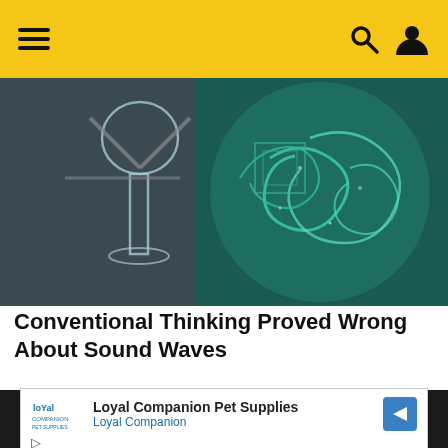Navigation header with hamburger menu, search icon, and user icon on yellow/gold background
[Figure (photo): Close-up photo of glass scientific equipment (hourglass-like apparatus) alongside a teal/turquoise decorative object with spiral Celtic-like patterns]
Conventional Thinking Proved Wrong About Sound Waves
[Figure (photo): Black and white photo of an elderly bald man against a dark background]
[Figure (other): Advertisement for Loyal Companion Pet Supplies with logo, company name, a directional arrow icon, play button and close button controls]